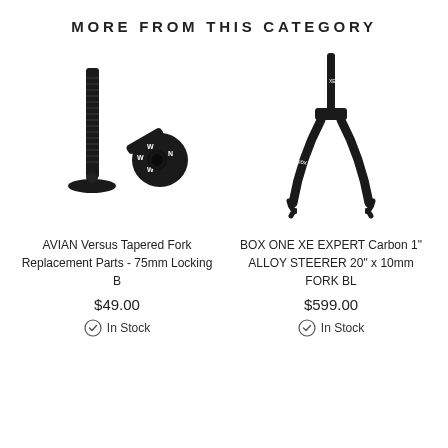MORE FROM THIS CATEGORY
[Figure (photo): Two black bolts/screws - AVIAN Versus Tapered Fork Replacement Parts]
AVIAN Versus Tapered Fork Replacement Parts - 75mm Locking B
$49.00
In Stock
[Figure (photo): Black BMX bicycle fork - BOX ONE XE EXPERT Carbon 1" ALLOY STEERER]
BOX ONE XE EXPERT Carbon 1" ALLOY STEERER 20" x 10mm FORK BL
$599.00
In Stock